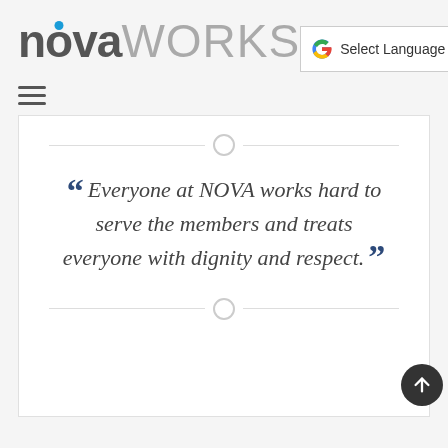[Figure (logo): NovaWorks logo — 'nova' in dark grey bold with a blue dot over the 'o', 'WORKS' in light grey]
[Figure (screenshot): Google Translate 'Select Language' widget button with Google 'G' logo]
[Figure (other): Hamburger menu icon — three horizontal dark lines]
Everyone at NOVA works hard to serve the members and treats everyone with dignity and respect.
[Figure (other): Scroll-to-top circular dark button with upward arrow]